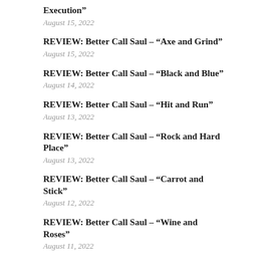Execution"
August 15, 2022
REVIEW: Better Call Saul – “Axe and Grind”
August 15, 2022
REVIEW: Better Call Saul – “Black and Blue”
August 14, 2022
REVIEW: Better Call Saul – “Hit and Run”
August 13, 2022
REVIEW: Better Call Saul – “Rock and Hard Place”
August 13, 2022
REVIEW: Better Call Saul – “Carrot and Stick”
August 12, 2022
REVIEW: Better Call Saul – “Wine and Roses”
August 11, 2022